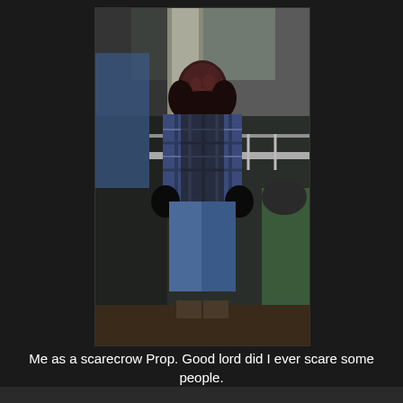[Figure (photo): A person dressed in a scarecrow costume with a dark textured mask covering their face, wearing a plaid flannel shirt and jeans, seated on what appears to a porch. Another person in green is partially visible on the right side. Background shows a railing, trees, and outdoor scenery.]
Me as a scarecrow Prop. Good lord did I ever scare some people.